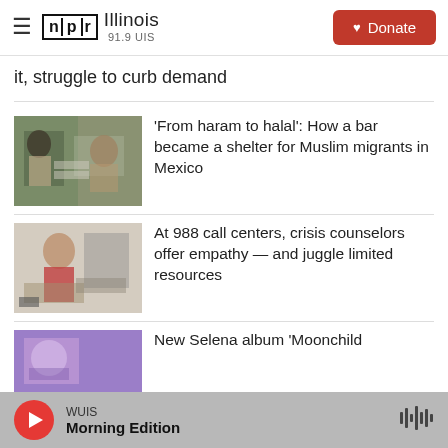NPR Illinois 91.9 UIS — Donate
it, struggle to curb demand
[Figure (photo): Two people in a room with audio/recording equipment; one wearing a headscarf]
'From haram to halal': How a bar became a shelter for Muslim migrants in Mexico
[Figure (photo): Man in red shirt sitting at a desk with a computer and keyboard in an office]
At 988 call centers, crisis counselors offer empathy — and juggle limited resources
[Figure (photo): Purple/lavender album cover image partially visible]
New Selena album 'Moonchild
WUIS — Morning Edition (player bar)